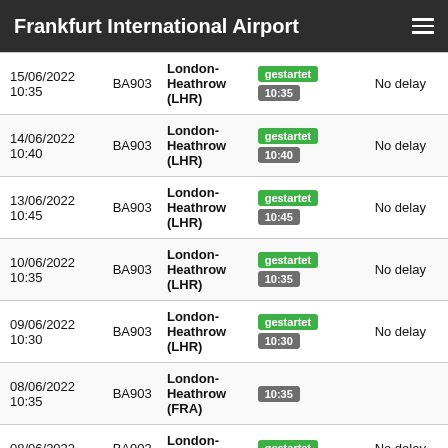Frankfurt International Airport
| Date/Time | Flight | Destination | Status | Delay |
| --- | --- | --- | --- | --- |
| 15/06/2022 10:35 | BA903 | London-Heathrow (LHR) | gestartet 10:35 | No delay |
| 14/06/2022 10:40 | BA903 | London-Heathrow (LHR) | gestartet 10:40 | No delay |
| 13/06/2022 10:45 | BA903 | London-Heathrow (LHR) | gestartet 10:45 | No delay |
| 10/06/2022 10:35 | BA903 | London-Heathrow (LHR) | gestartet 10:35 | No delay |
| 09/06/2022 10:30 | BA903 | London-Heathrow (LHR) | gestartet 10:30 | No delay |
| 08/06/2022 10:35 | BA903 | London-Heathrow (FRA) | 10:35 |  |
| 08/06/2022 | BA903 | London-Heathrow | gestartet | No delay |